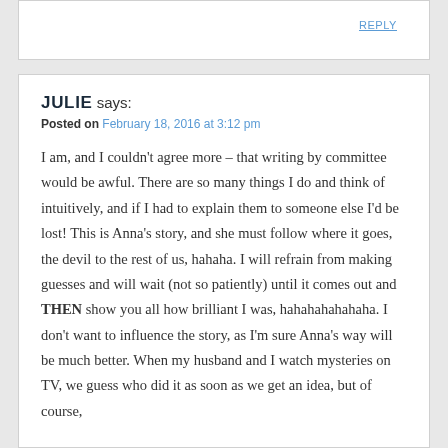REPLY
JULIE says:
Posted on February 18, 2016 at 3:12 pm
I am, and I couldn't agree more – that writing by committee would be awful. There are so many things I do and think of intuitively, and if I had to explain them to someone else I'd be lost! This is Anna's story, and she must follow where it goes, the devil to the rest of us, hahaha. I will refrain from making guesses and will wait (not so patiently) until it comes out and THEN show you all how brilliant I was, hahahahahahaha. I don't want to influence the story, as I'm sure Anna's way will be much better. When my husband and I watch mysteries on TV, we guess who did it as soon as we get an idea, but of course,